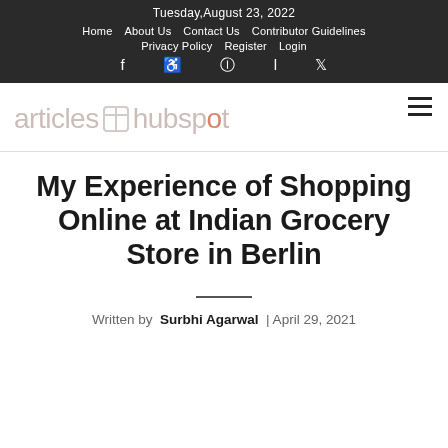Tuesday, August 23, 2022
Home | About Us | Contact Us | Contributor Guidelines | Privacy Policy | Register | Login
f p instagram in twitter
[Figure (logo): articles hubspot logo in light gray with location pin dot icon and small grid icon]
My Experience of Shopping Online at Indian Grocery Store in Berlin
Written by Surbhi Agarwal | April 29, 2021